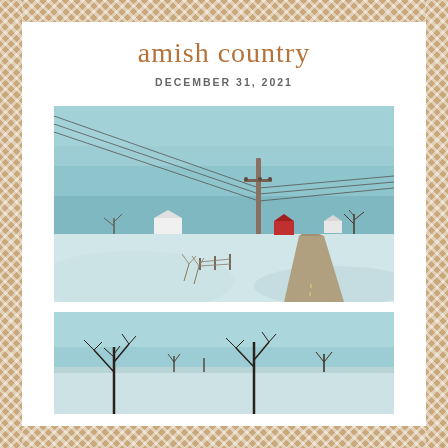amish country
DECEMBER 31, 2021
[Figure (photo): Winter landscape in Amish country showing a rural road curving to the right, snow-covered fields, farmhouses (one white, one with a red barn), bare trees, power lines and a utility pole in the center, under a grey-blue winter sky.]
[Figure (photo): Second winter Amish country scene showing snow-covered fields with bare trees in the background under a grey-blue sky, partially visible at bottom of page.]